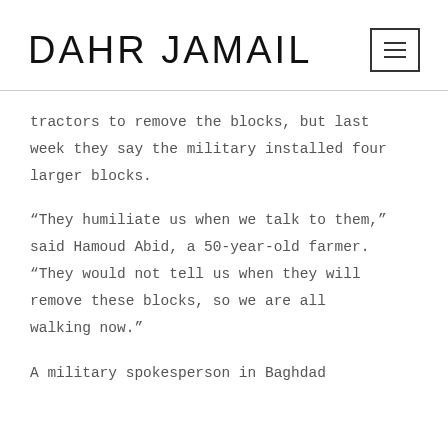DAHR JAMAIL
tractors to remove the blocks, but last week they say the military installed four larger blocks.
“They humiliate us when we talk to them,” said Hamoud Abid, a 50-year-old farmer. “They would not tell us when they will remove these blocks, so we are all walking now.”
A military spokesperson in Baghdad